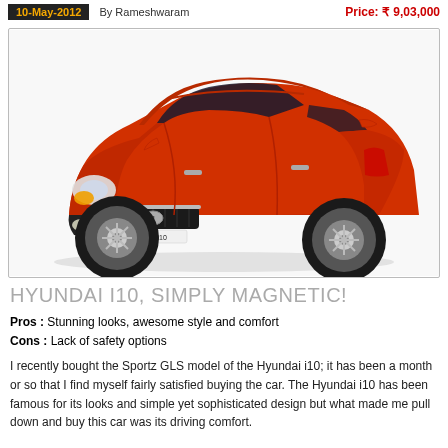10-May-2012   By Rameshwaram   Price: ₹ 9,03,000
[Figure (photo): Red Hyundai i10 car, front three-quarter view, with 'HYUNDAI i10' text on license plate area]
HYUNDAI I10, SIMPLY MAGNETIC!
Pros : Stunning looks, awesome style and comfort
Cons : Lack of safety options
I recently bought the Sportz GLS model of the Hyundai i10; it has been a month or so that I find myself fairly satisfied buying the car. The Hyundai i10 has been famous for its looks and simple yet sophisticated design but what made me pull down and buy this car was its driving comfort.